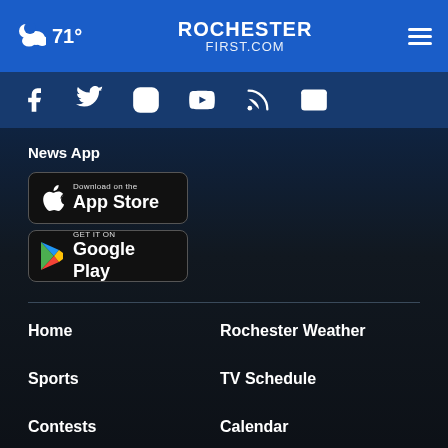71° | ROCHESTER FIRST.COM
[Figure (screenshot): Social media icons: Facebook, Twitter, Instagram, YouTube, RSS, Email]
News App
[Figure (screenshot): Download on the App Store button]
[Figure (screenshot): GET IT ON Google Play button]
Home
Rochester Weather
Sports
TV Schedule
Contests
Calendar